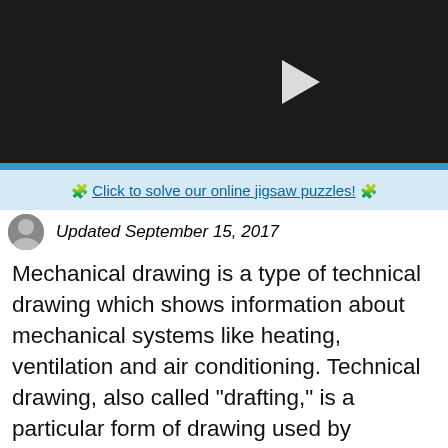[Figure (screenshot): Video player with dark background and white play button triangle]
Brought to you by Sciencing
Click to solve our online jigsaw puzzles!
Updated September 15, 2017
Mechanical drawing is a type of technical drawing which shows information about mechanical systems like heating, ventilation and air conditioning. Technical drawing, also called "drafting," is a particular form of drawing used by designers, architects and engineers. There are a number of standards and conventions for technical drawing, as technical drawings are meant to show information and are interpreted as such. Elements like layout, text, symbols, types of view projections, dimensioning, descriptive